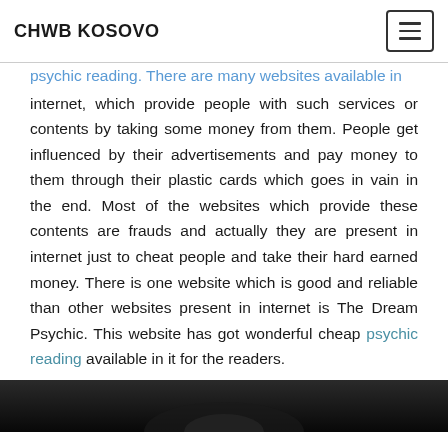CHWB KOSOVO
psychic reading. There are many websites available in internet, which provide people with such services or contents by taking some money from them. People get influenced by their advertisements and pay money to them through their plastic cards which goes in vain in the end. Most of the websites which provide these contents are frauds and actually they are present in internet just to cheat people and take their hard earned money. There is one website which is good and reliable than other websites present in internet is The Dream Psychic. This website has got wonderful cheap psychic reading available in it for the readers.
[Figure (photo): Dark background image partially visible at bottom of page]